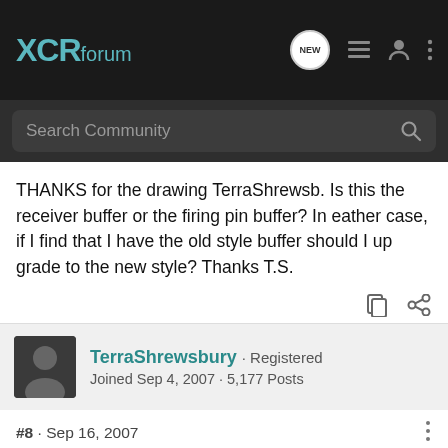XCRforum
Search Community
THANKS for the drawing TerraShrewsb. Is this the receiver buffer or the firing pin buffer? In eather case, if I find that I have the old style buffer should I up grade to the new style? Thanks T.S.
TerraShrewsbury · Registered
Joined Sep 4, 2007 · 5,177 Posts
#8 · Sep 16, 2007
Buying a new firing pin and bolt assembly really is not